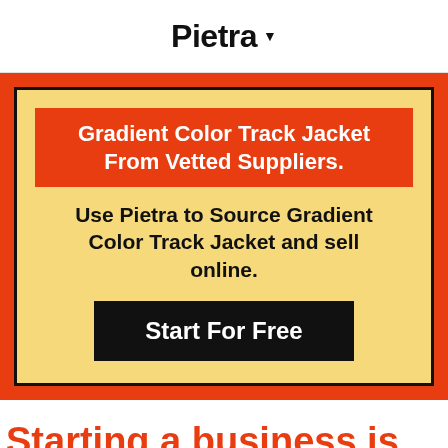Pietra
[Figure (infographic): Promotional card on orange background with yellow card containing red banner, body text, and black CTA button. Red banner reads: Gradient Color Track Jacket From Vetted Suppliers. Body text: Use Pietra to Source Gradient Color Track Jacket and sell online. CTA button: Start For Free.]
Starting a business is easier than you think. Start with Pietra